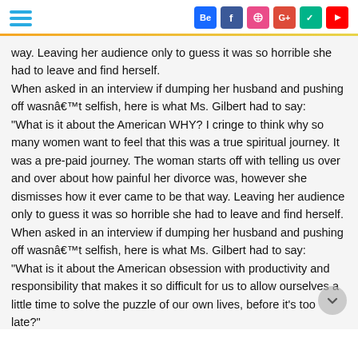Social media navigation header with hamburger menu and social icons: Behance, Facebook, Dribbble, Google+, Vine, YouTube
way. Leaving her audience only to guess it was so horrible she had to leave and find herself.
When asked in an interview if dumping her husband and pushing off wasnât selfish, here is what Ms. Gilbert had to say:
"What is it about the American WHY? I cringe to think why so many women want to feel that this was a true spiritual journey. It was a pre-paid journey. The woman starts off with telling us over and over about how painful her divorce was, however she dismisses how it ever came to be that way. Leaving her audience only to guess it was so horrible she had to leave and find herself.
When asked in an interview if dumping her husband and pushing off wasnât selfish, here is what Ms. Gilbert had to say:
"What is it about the American obsession with productivity and responsibility that makes it so difficult for us to allow ourselves a little time to solve the puzzle of our own lives, before it's too late?"
This statement alone tells so much. A responsibility towards a marriage and spouse is considered an unwanted "obsession" and one's own pursuit of happiness supercedes everything else? If a man decided to dump his wife and family to flee to the Himalayas